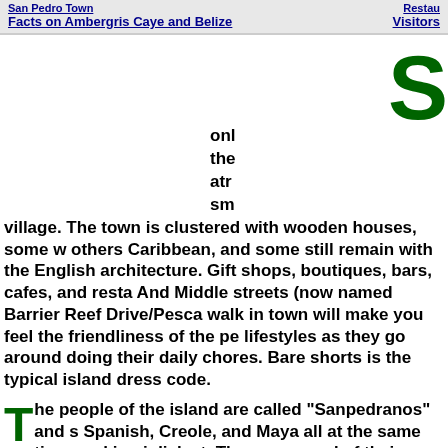Facts on Ambergris Caye and Belize | Visitors
San Pedro Town is only... the town attracts... small village. The town is clustered with wooden houses, some w others Caribbean, and some still remain with the English architecture. Gift shops, boutiques, bars, cafes, and resta And Middle streets (now named Barrier Reef Drive/Pesca walk in town will make you feel the friendliness of the pe lifestyles as they go around doing their daily chores. Bare shorts is the typical island dress code.
The people of the island are called "Sanpedranos" and s Spanish, Creole, and Maya all at the same time, making i dialect. They are proud of their heritage and are willing t tourists. Before tourism picked up in the eighties, the isla Mestizos (Maya-Spanish). Today they share their island ...